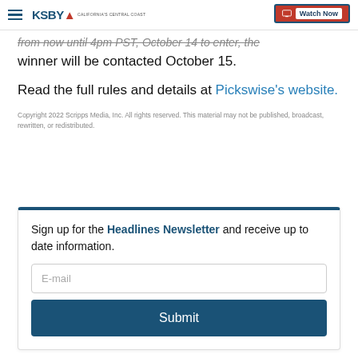KSBY - California's Central Coast | Watch Now
from now until 4pm PST, October 14 to enter, the winner will be contacted October 15.
Read the full rules and details at Pickswise's website.
Copyright 2022 Scripps Media, Inc. All rights reserved. This material may not be published, broadcast, rewritten, or redistributed.
Sign up for the Headlines Newsletter and receive up to date information.